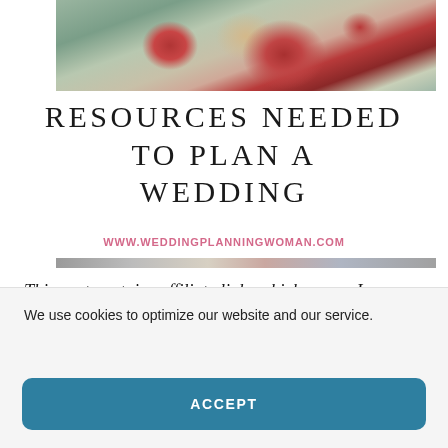[Figure (photo): Close-up photo of a wedding bouquet with red roses, eucalyptus, and small yellow flowers]
RESOURCES NEEDED TO PLAN A WEDDING
WWW.WEDDINGPLANNINGWOMAN.COM
[Figure (photo): Decorative divider strip image]
This post contains affiliate links which means I earn a small commission when you purchase through
We use cookies to optimize our website and our service.
ACCEPT